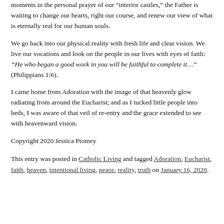moments in the personal prayer of our 'interior castles,' the Father is waiting to change our hearts, right our course, and renew our view of what is eternally real for our human souls.
We go back into our physical reality with fresh life and clear vision. We live our vocations and look on the people in our lives with eyes of faith: “He who began a good work in you will be faithful to complete it…” (Philippians 1:6).
I came home from Adoration with the image of that heavenly glow radiating from around the Eucharist; and as I tucked little people into beds, I was aware of that veil of re-entry and the grace extended to see with heavenward vision.
Copyright 2020 Jessica Ptomey
This entry was posted in Catholic Living and tagged Adoration, Eucharist, faith, heaven, intentional living, peace, reality, truth on January 16, 2020.